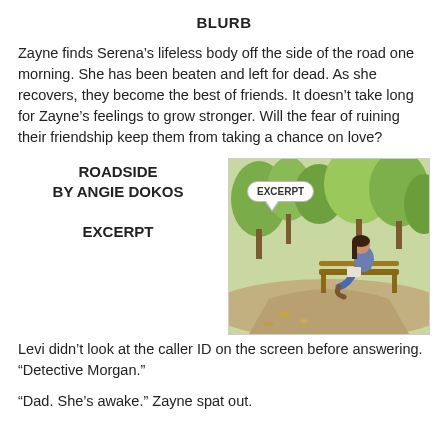BLURB
Zayne finds Serena’s lifeless body off the side of the road one morning. She has been beaten and left for dead. As she recovers, they become the best of friends. It doesn’t take long for Zayne’s feelings to grow stronger. Will the fear of ruining their friendship keep them from taking a chance on love?
ROADSIDE
BY ANGIE DOKOS
EXCERPT
[Figure (photo): A woman sitting on a park bench reading, with green trees in the background. A speech bubble overlay reads EXCERPT.]
Levi didn’t look at the caller ID on the screen before answering. “Detective Morgan.”
“Dad. She’s awake.” Zayne spat out.